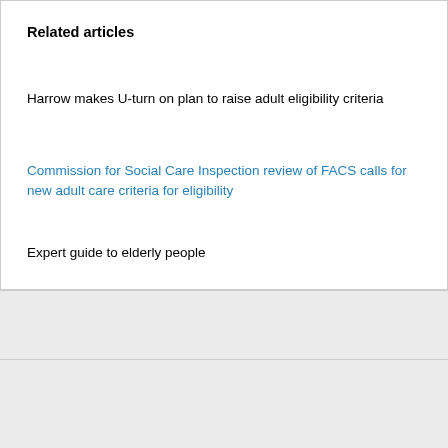Related articles
Harrow makes U-turn on plan to raise adult eligibility criteria
Commission for Social Care Inspection review of FACS calls for new adult care criteria for eligibility
Expert guide to elderly people
Comments are closed.